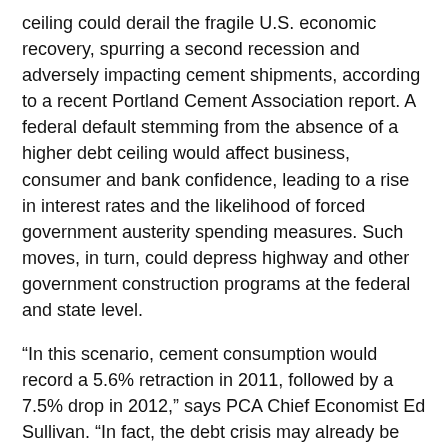ceiling could derail the fragile U.S. economic recovery, spurring a second recession and adversely impacting cement shipments, according to a recent Portland Cement Association report. A federal default stemming from the absence of a higher debt ceiling would affect business, consumer and bank confidence, leading to a rise in interest rates and the likelihood of forced government austerity spending measures. Such moves, in turn, could depress highway and other government construction programs at the federal and state level.
“In this scenario, cement consumption would record a 5.6% retraction in 2011, followed by a 7.5% drop in 2012,” says PCA Chief Economist Ed Sullivan. “In fact, the debt crisis may already be exerting adverse influence on near-term cement consumption due to suspension of state and local treasury bonds.”
PCA estimates the cyclical downturn caused by the “Great Recession” reduced federal revenues by $1.9 trillion and raised income security payments like unemployment insurance by